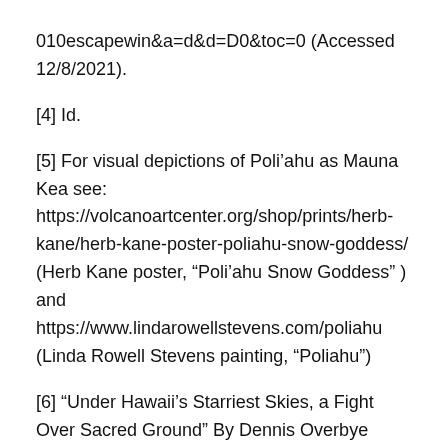010escapewin&a=d&d=D0&toc=0 (Accessed 12/8/2021).
[4] Id.
[5] For visual depictions of Poli’ahu as Mauna Kea see: https://volcanoartcenter.org/shop/prints/herb-kane/herb-kane-poster-poliahu-snow-goddess/ (Herb Kane poster, “Poli’ahu Snow Goddess” ) and https://www.lindarowellstevens.com/poliahu (Linda Rowell Stevens painting, “Poliahu”)
[6] “Under Hawaii’s Starriest Skies, a Fight Over Sacred Ground” By Dennis Overbye